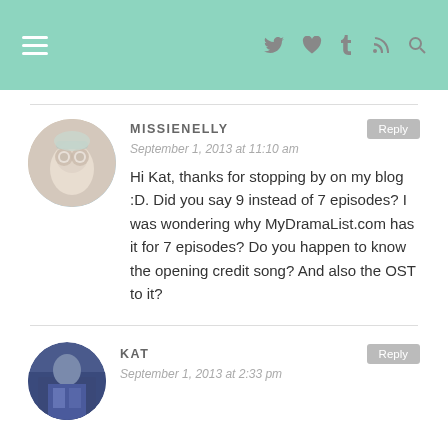Navigation header with hamburger menu and icons: twitter, heart, tumblr, rss, search
MISSIENELLY
September 1, 2013 at 11:10 am
Hi Kat, thanks for stopping by on my blog :D. Did you say 9 instead of 7 episodes? I was wondering why MyDramaList.com has it for 7 episodes? Do you happen to know the opening credit song? And also the OST to it?
KAT
September 1, 2013 at 2:33 pm